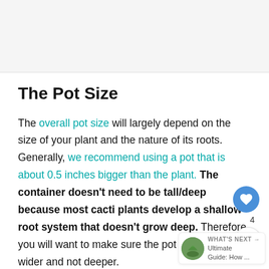[Figure (photo): Top image area, partially visible, light gray background suggesting a cropped photo]
The Pot Size
The overall pot size will largely depend on the size of your plant and the nature of its roots. Generally, we recommend using a pot that is about 0.5 inches bigger than the plant. The container doesn't need to be tall/deep because most cacti plants develop a shallow root system that doesn't grow deep. Therefore, you will want to make sure the pot is wider and not deeper.